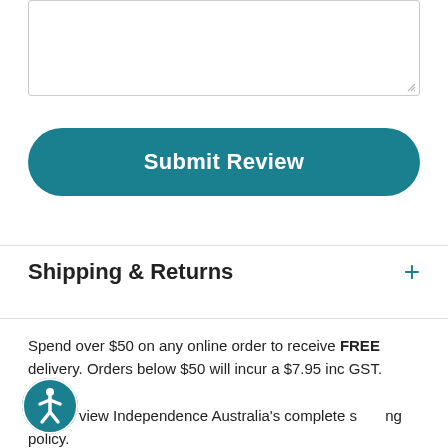[Figure (other): Empty text area input box with resize handle in bottom-right corner]
Submit Review
Shipping & Returns
Spend over $50 on any online order to receive FREE delivery. Orders below $50 will incur a $7.95 inc GST. Click here to view Independence Australia's complete shipping policy.